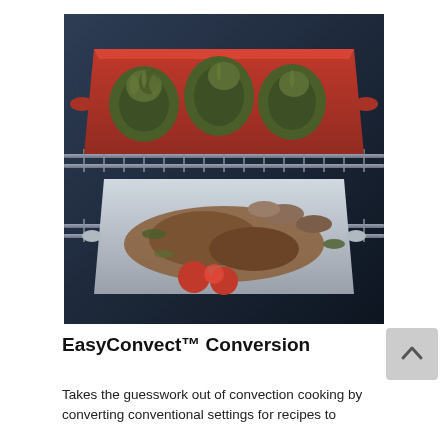[Figure (photo): A photo of an open oven with two baking dishes on metal racks. The upper dish is a red ceramic baking pan filled with artichokes. The lower dish is a silver roasting pan containing meat with tomatoes and mushrooms. The oven interior has a dark background with chrome/steel wire racks.]
EasyConvect™ Conversion
Takes the guesswork out of convection cooking by converting conventional settings for recipes to